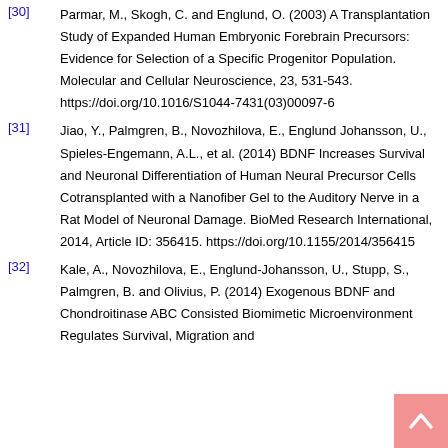[30] Parmar, M., Skogh, C. and Englund, O. (2003) A Transplantation Study of Expanded Human Embryonic Forebrain Precursors: Evidence for Selection of a Specific Progenitor Population. Molecular and Cellular Neuroscience, 23, 531-543. https://doi.org/10.1016/S1044-7431(03)00097-6
[31] Jiao, Y., Palmgren, B., Novozhilova, E., Englund Johansson, U., Spieles-Engemann, A.L., et al. (2014) BDNF Increases Survival and Neuronal Differentiation of Human Neural Precursor Cells Cotransplanted with a Nanofiber Gel to the Auditory Nerve in a Rat Model of Neuronal Damage. BioMed Research International, 2014, Article ID: 356415. https://doi.org/10.1155/2014/356415
[32] Kale, A., Novozhilova, E., Englund-Johansson, U., Stupp, S., Palmgren, B. and Olivius, P. (2014) Exogenous BDNF and Chondroitinase ABC Consisted Biomimetic Microenvironment Regulates Survival, Migration and...